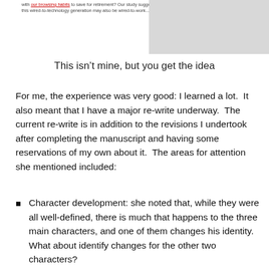[Figure (screenshot): Partial screenshot of a blog or article page showing text with red hyperlinks and a gray image placeholder on the right side.]
This isn’t mine, but you get the idea
For me, the experience was very good: I learned a lot. It also meant that I have a major re-write underway. The current re-write is in addition to the revisions I undertook after completing the manuscript and having some reservations of my own about it. The areas for attention she mentioned included:
Character development: she noted that, while they were all well-defined, there is much that happens to the three main characters, and one of them changes his identity. What about identify changes for the other two characters?